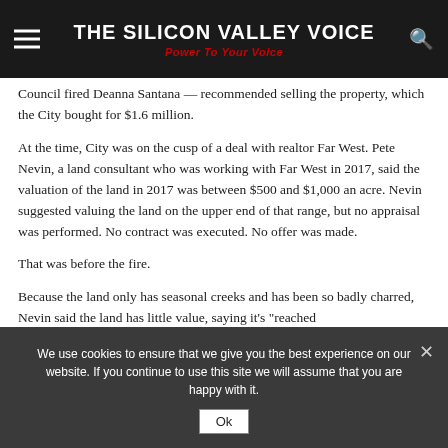THE SILICON VALLEY VOICE — Power To Your Voice
Council fired Deanna Santana — recommended selling the property, which the City bought for $1.6 million.
At the time, City was on the cusp of a deal with realtor Far West. Pete Nevin, a land consultant who was working with Far West in 2017, said the valuation of the land in 2017 was between $500 and $1,000 an acre. Nevin suggested valuing the land on the upper end of that range, but no appraisal was performed. No contract was executed. No offer was made.
That was before the fire.
Because the land only has seasonal creeks and has been so badly charred, Nevin said the land has little value, saying it's "reached
We use cookies to ensure that we give you the best experience on our website. If you continue to use this site we will assume that you are happy with it.